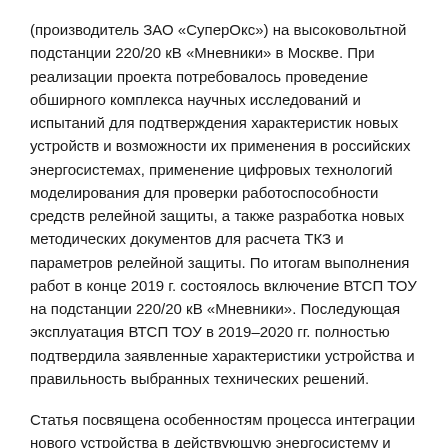(производитель ЗАО «СуперОкс») на высоковольтной подстанции 220/20 кВ «Мневники» в Москве. При реализации проекта потребовалось проведение обширного комплекса научных исследований и испытаний для подтверждения характеристик новых устройств и возможности их применения в российских энергосистемах, применение цифровых технологий моделирования для проверки работоспособности средств релейной защиты, а также разработка новых методических документов для расчета ТКЗ и параметров релейной защиты. По итогам выполнения работ в конце 2019 г. состоялось включение ВТСП ТОУ на подстанции 220/20 кВ «Мневники». Последующая эксплуатация ВТСП ТОУ в 2019–2020 гг. полностью подтвердила заявленные характеристики устройства и правильность выбранных технических решений.
Статья посвящена особенностям процесса интеграции нового устройства в действующую энергосистему и представляет основные конструктивные и технические решения,